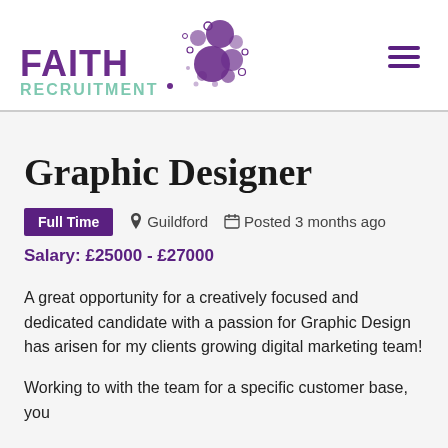[Figure (logo): Faith Recruitment logo with purple globe made of circles and teal text]
Graphic Designer
Full Time   Guildford   Posted 3 months ago
Salary: £25000 - £27000
A great opportunity for a creatively focused and dedicated candidate with a passion for Graphic Design has arisen for my clients growing digital marketing team!
Working to with the team for a specific customer base, you